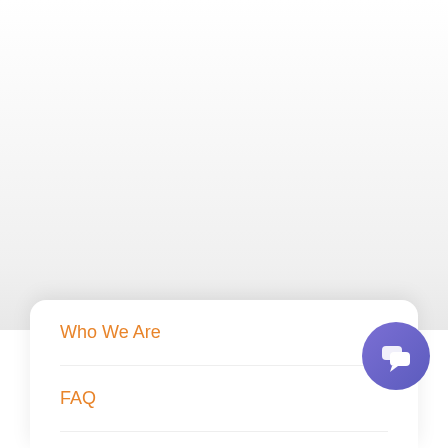Who We Are
FAQ
Have a Question